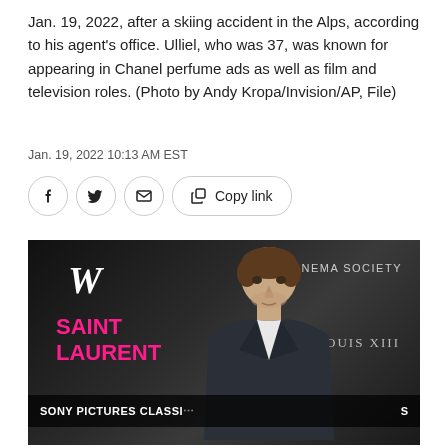Jan. 19, 2022, after a skiing accident in the Alps, according to his agent's office. Ulliel, who was 37, was known for appearing in Chanel perfume ads as well as film and television roles. (Photo by Andy Kropa/Invision/AP, File)
Jan. 19, 2022 10:13 AM EST
[Figure (other): Social sharing buttons: Facebook, Twitter, Email, Copy link]
[Figure (photo): Photo of a young man in a dark suit at an event with Saint Laurent, W magazine, Cinema Society and Louis XIII branding in the background. Bottom bar shows Sony Pictures Classics.]